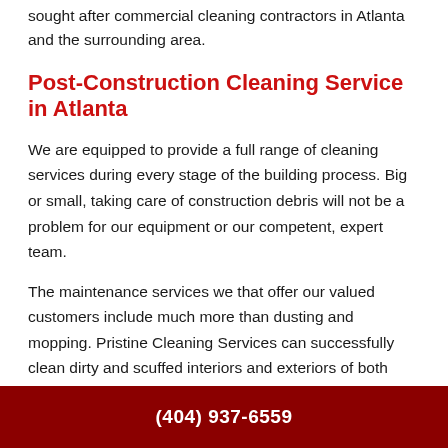sought after commercial cleaning contractors in Atlanta and the surrounding area.
Post-Construction Cleaning Service in Atlanta
We are equipped to provide a full range of cleaning services during every stage of the building process. Big or small, taking care of construction debris will not be a problem for our equipment or our competent, expert team.
The maintenance services we that offer our valued customers include much more than dusting and mopping. Pristine Cleaning Services can successfully clean dirty and scuffed interiors and exteriors of both finished and incomplete construction projects. We have experience with:
(404) 937-6559